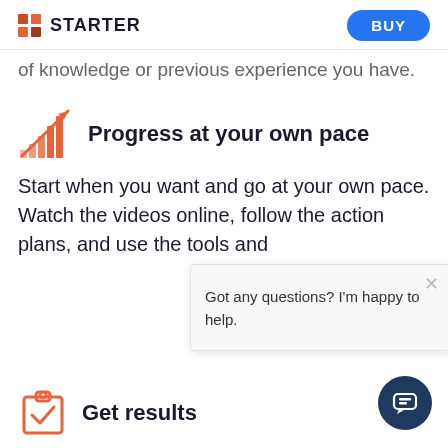STARTER | BUY
of knowledge or previous experience you have.
Progress at your own pace
Start when you want and go at your own pace. Watch the videos online, follow the action plans, and use the tools and
Got any questions? I'm happy to help.
Get results
We make investing in the stock market acces to everyone. Our members prove every day that